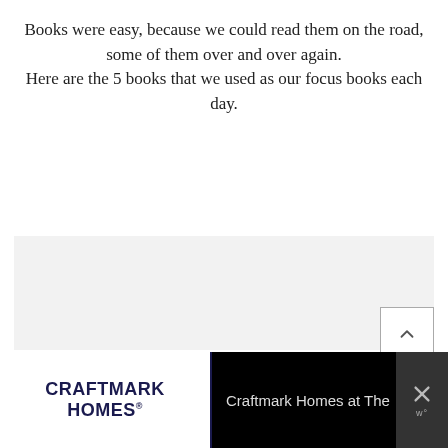Books were easy, because we could read them on the road, some of them over and over again. Here are the 5 books that we used as our focus books each day.
[Figure (other): Image carousel placeholder with light gray background and navigation dots. A right-chevron navigation button with border is shown on the right side.]
[Figure (other): Advertisement banner at the bottom: Craftmark Homes logo on white left side, 'Craftmark Homes at The' text on black background on right, with a close (X) button and WordPress branding icon.]